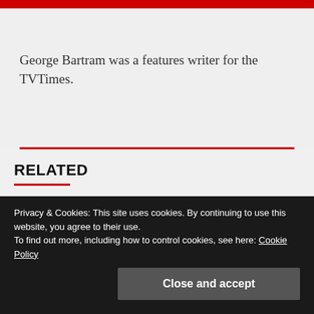George Bartram was a features writer for the TVTimes.
RELATED
[Figure (photo): Red-tinted thumbnail image with camera badge icon on the left]
[Figure (photo): Red-tinted thumbnail image with camera badge icon on the right]
Privacy & Cookies: This site uses cookies. By continuing to use this website, you agree to their use.
To find out more, including how to control cookies, see here: Cookie Policy
Close and accept